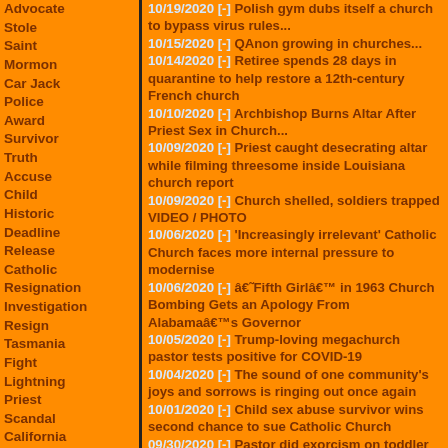Advocate Stole Saint Mormon Car Jack Police Award Survivor Truth Accuse Child Historic Deadline Release Catholic Resignation Investigation Resign Tasmania Fight Lightning Priest Scandal California Bible Texas Collapse Killed Injure Dead Victim Mother Youth Summer Russia West Woman South Bishop Report Fire Alarm
longtime church over the congregation’s devotion to Trump
10/19/2020 [-] Polish gym dubs itself a church to bypass virus rules...
10/15/2020 [-] QAnon growing in churches...
10/14/2020 [-] Retiree spends 28 days in quarantine to help restore a 12th-century French church
10/10/2020 [-] Archbishop Burns Altar After Priest Sex in Church...
10/09/2020 [-] Priest caught desecrating altar while filming threesome inside Louisiana church report
10/09/2020 [-] Church shelled, soldiers trapped VIDEO / PHOTO
10/06/2020 [-] 'Increasingly irrelevant' Catholic Church faces more internal pressure to modernise
10/06/2020 [-] âŸ™Fifth GirlâŸ™ in 1963 Church Bombing Gets an Apology From AlabamaâŸ™s Governor
10/05/2020 [-] Trump-loving megachurch pastor tests positive for COVID-19
10/04/2020 [-] The sound of one community's joys and sorrows is ringing out once again
10/01/2020 [-] Child sex abuse survivor wins second chance to sue Catholic Church
09/30/2020 [-] Pastor did exorcism on toddler and used meth with church members, cops say...
09/29/2020 [-] Rockford church goes online after some catch coronavirus
09/24/2020 [-] Police Arrest 3 for Going Barefaced